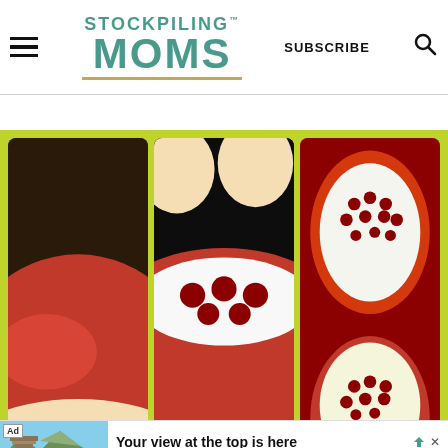STOCKPILING MOMS — SUBSCRIBE
[Figure (photo): Collage of 6 pomegranate photos on a lime-green background showing steps to open/seed a pomegranate]
[Figure (photo): Ad banner: Pikes Peak advertisement — 'Your view at the top is here' with landscape photo]